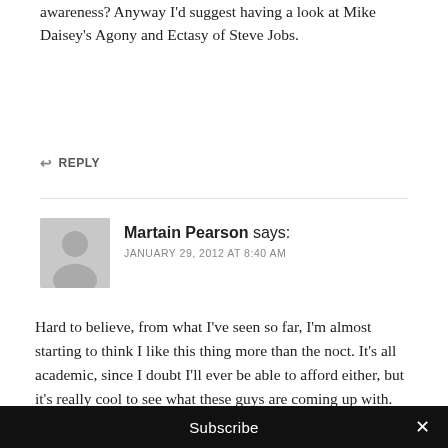awareness? Anyway I'd suggest having a look at Mike Daisey's Agony and Ectasy of Steve Jobs.
↩ REPLY
Martain Pearson says:
JANUARY 29, 2012 AT 8:40 AM
Hard to believe, from what I've seen so far, I'm almost starting to think I like this thing more than the noct. It's all academic, since I doubt I'll ever be able to afford either, but it's really cool to see what these guys are coming up with.
↩ REPLY
Subscribe